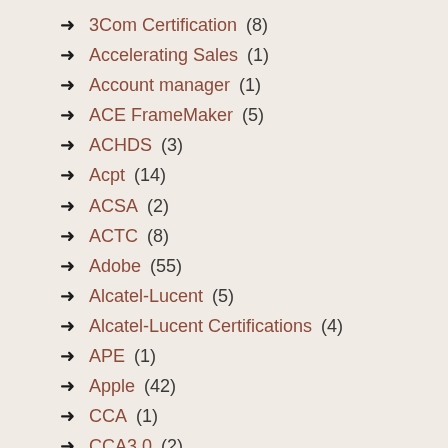3Com Certification (8)
Accelerating Sales (1)
Account manager (1)
ACE FrameMaker (5)
ACHDS (3)
Acpt (14)
ACSA (2)
ACTC (8)
Adobe (55)
Alcatel-Lucent (5)
Alcatel-Lucent Certifications (4)
APE (1)
Apple (42)
CCA (1)
CCA3.0 (2)
CCDA (1)
CCDE (2)
CCDP (2)